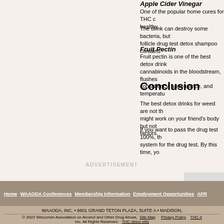Apple Cider Vinegar
One of the popular home cures for THC c... healthy.
The drink can destroy some bacteria, but follicle drug test detox shampoo contains
Fruit Pectin
Fruit pectin is one of the best detox drink cannabinoids in the bloodstream, flushes consistency, appearance, and temperatu
Conclusion
The best detox drinks for weed are not th might work on your friend's body but not factors.
If you want to pass the drug test 100%, th system for the drug test. By this time, yo
ADVERTISEMENT
[Figure (screenshot): Partial advertisement image with link text 'Confi...']
Home · WAAODA Conferences · Membership Information · Employment Opportunities · AFR
WAAODA, INC. • 6601 GRAND TETON PLAZA, SUITE A • MADISON,
© 2022 Wisconsin Association on Alcohol and Other Drug Abuse, Site Map · Privacy Policy · THC ... Inc. All Rights Reserved. THC detox pills